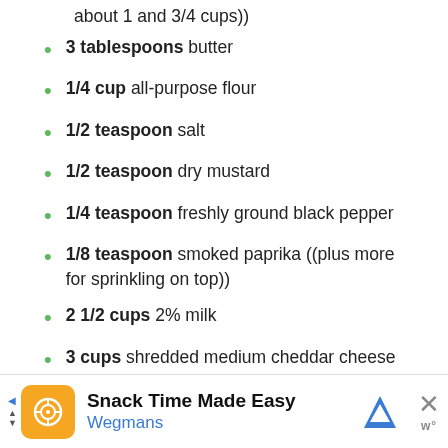about 1 and 3/4 cups))
3 tablespoons butter
1/4 cup all-purpose flour
1/2 teaspoon salt
1/2 teaspoon dry mustard
1/4 teaspoon freshly ground black pepper
1/8 teaspoon smoked paprika ((plus more for sprinkling on top))
2 1/2 cups 2% milk
3 cups shredded medium cheddar cheese ((approx. 12 ounces) **)
[Figure (screenshot): Advertisement banner: Snack Time Made Easy - Wegmans]